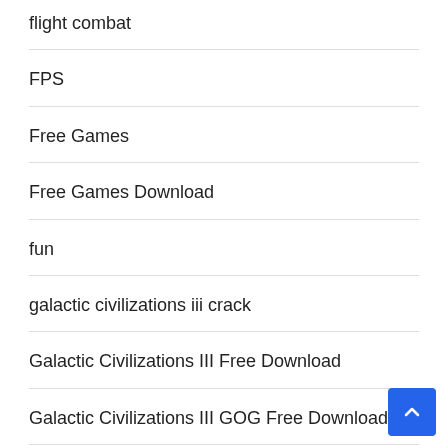flight combat
FPS
Free Games
Free Games Download
fun
galactic civilizations iii crack
Galactic Civilizations III Free Download
Galactic Civilizations III GOG Free Download
Galactic Civilizations III GOG Torrent